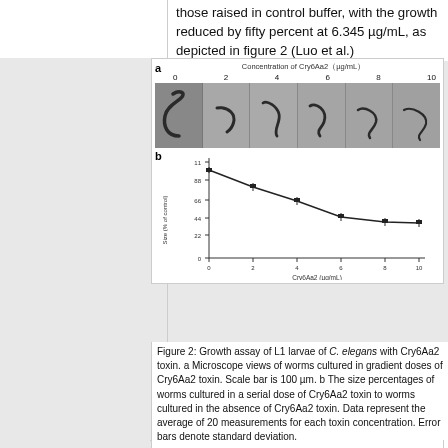those raised in control buffer, with the growth reduced by fifty percent at 6.345 µg/mL, as depicted in figure 2 (Luo et al.)
[Figure (photo): Panel a: Microscope views of C. elegans L1 larvae worms cultured in gradient doses of Cry6Aa2 toxin (0, 2, 4, 6, 8, 10 µg/mL). Scale bar is 100 µm. Shows worms at different concentrations appearing progressively less coiled. Panel b: Line graph showing size (% of control) of worms vs Cry6Aa2 concentration (µg/mL), with a decreasing curve from ~100% at 0 µg/mL to ~40% at 10 µg/mL.]
Figure 2: Growth assay of L1 larvae of C. elegans with Cry6Aa2 toxin. a Microscope views of worms cultured in gradient doses of Cry6Aa2 toxin. Scale bar is 100 µm. b The size percentages of worms cultured in a serial dose of Cry6Aa2 toxin to worms cultured in the absence of Cry6Aa2 toxin. Data represent the average of 20 measurements for each toxin concentration. Error bars denote standard deviation. <http://link.springer.com/article/10.1007%2Fs00253-013-5249-3/fulltext.html/>